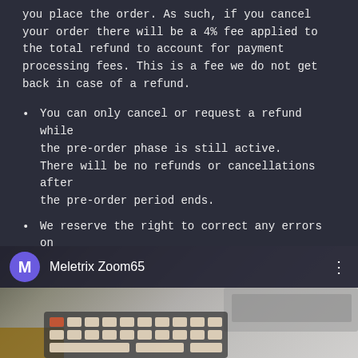you place the order. As such, if you cancel your order there will be a 4% fee applied to the total refund to account for payment processing fees. This is a fee we do not get back in case of a refund.
You can only cancel or request a refund while the pre-order phase is still active. There will be no refunds or cancellations after the pre-order period ends.
We reserve the right to correct any errors on this page at any time. This is a complicated listing but we've tried our best to verify the information on this page as much as possible.
[Figure (screenshot): Screenshot of a Meletrix Zoom65 product listing or video thumbnail showing a keyboard and laptop, with a purple M avatar and channel name 'Meletrix Zoom65' overlaid at the top.]